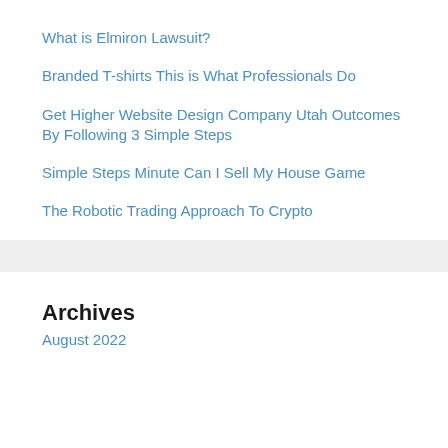What is Elmiron Lawsuit?
Branded T-shirts This is What Professionals Do
Get Higher Website Design Company Utah Outcomes By Following 3 Simple Steps
Simple Steps Minute Can I Sell My House Game
The Robotic Trading Approach To Crypto
Archives
August 2022